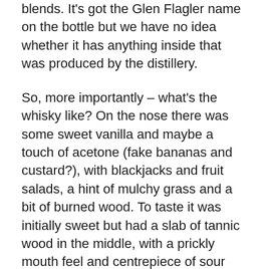blends. It's got the Glen Flagler name on the bottle but we have no idea whether it has anything inside that was produced by the distillery.
So, more importantly – what's the whisky like? On the nose there was some sweet vanilla and maybe a touch of acetone (fake bananas and custard?), with blackjacks and fruit salads, a hint of mulchy grass and a bit of burned wood. To taste it was initially sweet but had a slab of tannic wood in the middle, with a prickly mouth feel and centrepiece of sour liquorice. The finish was dry and woody but with a hint of sweetness. A bit of water changed things with more vanilla on the nose, and the taste became custardy with the sour streak running through the middle. The finish kept some of its dry wood but added custard with spiced fruit. Quite nice, but maybe too much of that drying wood sensation for my liking at the moment. Both Keith and